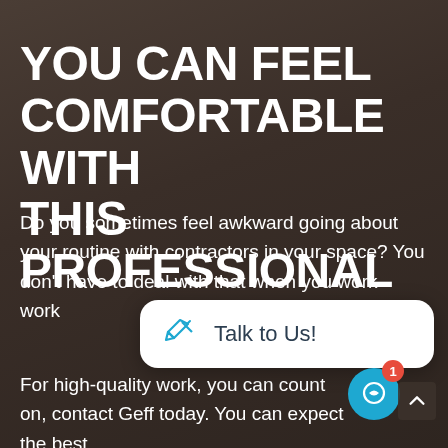YOU CAN FEEL COMFORTABLE WITH THIS PROFESSIONAL
Do you sometimes feel awkward going about your routine with contractors in your space? You don't have to deal with that when you work with work
[Figure (screenshot): Chat popup overlay with a pencil/tag icon and text 'Talk to Us!']
For high-quality work, you can count on, contact Geff today. You can expect the best